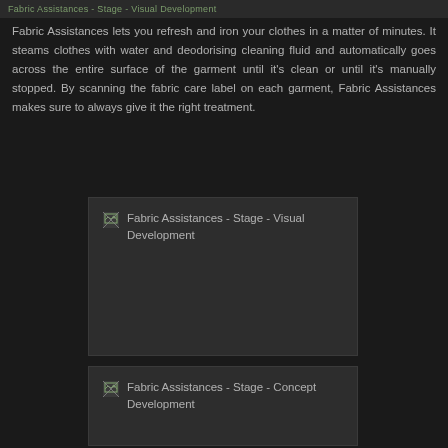Fabric Assistances - Stage - Visual Development
Fabric Assistances lets you refresh and iron your clothes in a matter of minutes. It steams clothes with water and deodorising cleaning fluid and automatically goes across the entire surface of the garment until it's clean or until it's manually stopped. By scanning the fabric care label on each garment, Fabric Assistances makes sure to always give it the right treatment.
[Figure (photo): Fabric Assistances - Stage - Visual Development image placeholder (broken image)]
[Figure (photo): Fabric Assistances - Stage - Concept Development image placeholder (broken image)]